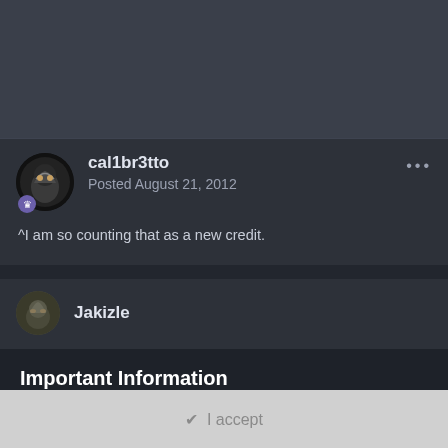[Figure (screenshot): Top dark background area]
cal1br3tto
Posted August 21, 2012
^I am so counting that as a new credit.
Jakizle
Important Information
Terms of Use https://themeparkreview.com/forum/topic/116-terms-of-service-please-read/
I accept